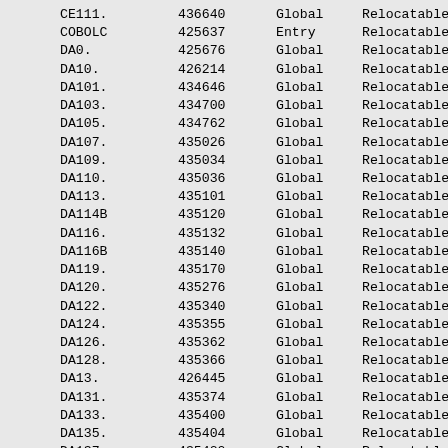| CE111. | 436640 | Global | Relocatable |
| COBOLC | 425637 | Entry | Relocatable |
| DA0. | 425676 | Global | Relocatable |
| DA10. | 426214 | Global | Relocatable |
| DA101. | 434646 | Global | Relocatable |
| DA103. | 434700 | Global | Relocatable |
| DA105. | 434762 | Global | Relocatable |
| DA107. | 435026 | Global | Relocatable |
| DA109. | 435034 | Global | Relocatable |
| DA110. | 435036 | Global | Relocatable |
| DA113. | 435101 | Global | Relocatable |
| DA114B | 435120 | Global | Relocatable |
| DA116. | 435132 | Global | Relocatable |
| DA116B | 435140 | Global | Relocatable |
| DA119. | 435170 | Global | Relocatable |
| DA120. | 435276 | Global | Relocatable |
| DA122. | 435340 | Global | Relocatable |
| DA124. | 435355 | Global | Relocatable |
| DA126. | 435362 | Global | Relocatable |
| DA128. | 435366 | Global | Relocatable |
| DA13. | 426445 | Global | Relocatable |
| DA131. | 435374 | Global | Relocatable |
| DA133. | 435400 | Global | Relocatable |
| DA135. | 435404 | Global | Relocatable |
| DA137. | 435420 | Global | Relocatable |
| DA139. | 435436 | Global | Relocatable |
| DA14. | 426465 | Global | Relocatable |
| DA141. | 435702 | Global | Relocatable |
| DA143. | 435721 | Global | Relocatable |
| DA145. | 435760 | Global | Relocatable |